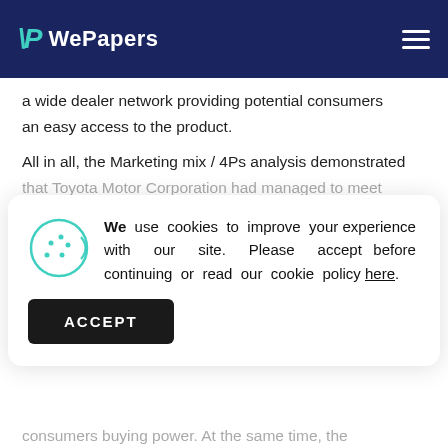WePapers
a wide dealer network providing potential consumers an easy access to the product.
All in all, the Marketing mix / 4Ps analysis demonstrated that Toyota Motor Corporation had managed to meet
We use cookies to improve your experience with our site. Please accept before continuing or read our cookie policy here.
ACCEPT
consumers buying power. At the same time, the company had necessary materials and technology to manufacture the new model.
Furthermore, the company could also win the market